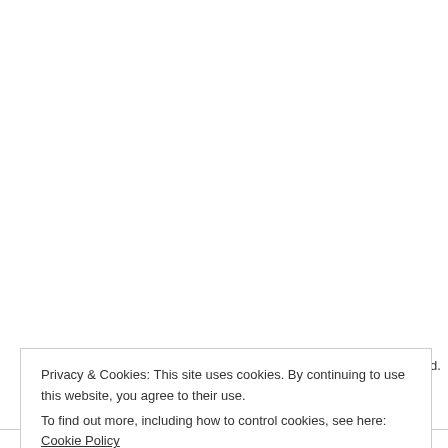Had Left, was published by thegoodbookcorner. for reading has led h comes from a family Banking & Finance. History on a part-tim the literary scene in literary events in Sri the Daily Mirror, Dai talkingcranes.com, s SAARC Women's As Association in 2016. membership base o soul.nightingale on I on Facebook. Artika Little Sikh Handbook can reach Artika at b View all posts by art
Leave a Reply
Privacy & Cookies: This site uses cookies. By continuing to use this website, you agree to their use.
To find out more, including how to control cookies, see here: Cookie Policy
Close and accept